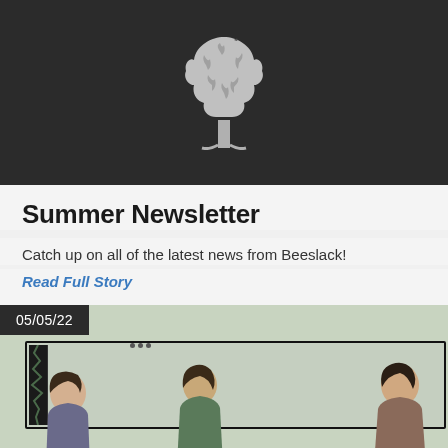[Figure (logo): White tree logo on dark background banner]
Summer Newsletter
Catch up on all of the latest news from Beeslack!
Read Full Story
[Figure (photo): Photo dated 05/05/22 showing three students in front of a classroom screen/monitor]